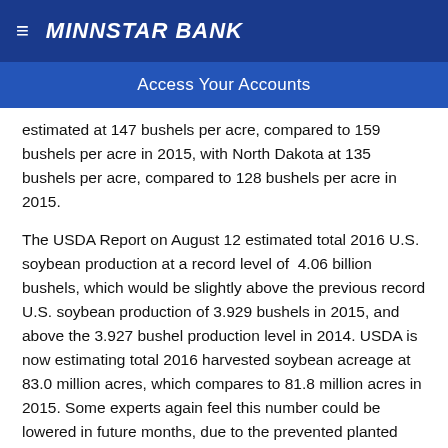MINNSTAR BANK
Access Your Accounts
estimated at 147 bushels per acre, compared to 159 bushels per acre in 2015, with North Dakota at 135 bushels per acre, compared to 128 bushels per acre in 2015.
The USDA Report on August 12 estimated total 2016 U.S. soybean production at a record level of 4.06 billion bushels, which would be slightly above the previous record U.S. soybean production of 3.929 bushels in 2015, and above the 3.927 bushel production level in 2014. USDA is now estimating total 2016 harvested soybean acreage at 83.0 million acres, which compares to 81.8 million acres in 2015. Some experts again feel this number could be lowered in future months, due to the prevented planted acres and drown-out acres in portions of the Upper Midwest.